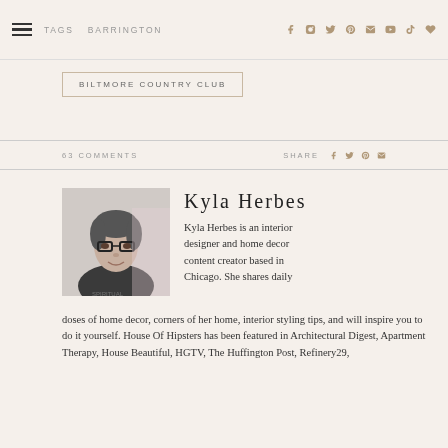≡  TAGS  BARRINGTON  [social icons: facebook, instagram, twitter, pinterest, email, youtube, tiktok, heart]
BILTMORE COUNTRY CLUB
63 COMMENTS   SHARE [facebook, twitter, pinterest, email]
[Figure (photo): Black and white portrait photo of Kyla Herbes, a woman with glasses and dark hair]
Kyla Herbes
Kyla Herbes is an interior designer and home decor content creator based in Chicago. She shares daily doses of home decor, corners of her home, interior styling tips, and will inspire you to do it yourself. House Of Hipsters has been featured in Architectural Digest, Apartment Therapy, House Beautiful, HGTV, The Huffington Post, Refinery29,